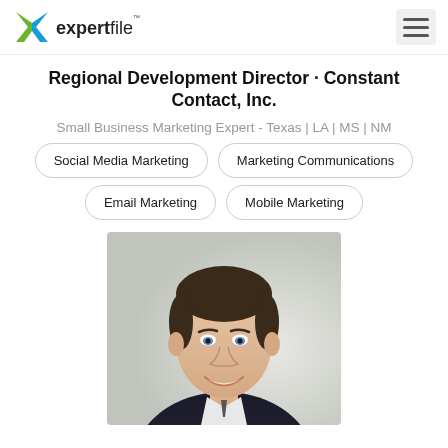expertfile™ [navigation]
Regional Development Director · Constant Contact, Inc.
Small Business Marketing Expert - Texas | LA | MS | NM
Social Media Marketing
Marketing Communications
Email Marketing
Mobile Marketing
[Figure (photo): Professional headshot of a man in a dark suit, smiling, with short dark hair and blue eyes, against a blurred light background.]